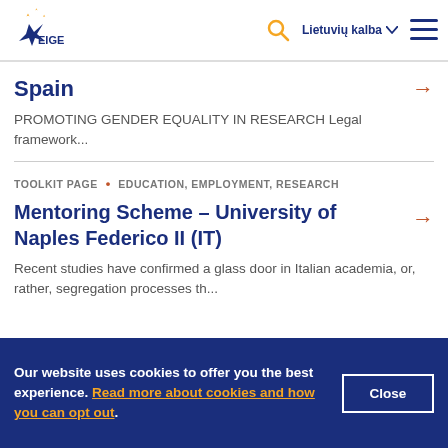EIGE — Lietuvių kalba
Spain
PROMOTING GENDER EQUALITY IN RESEARCH Legal framework...
TOOLKIT PAGE • EDUCATION, EMPLOYMENT, RESEARCH
Mentoring Scheme – University of Naples Federico II (IT)
Recent studies have confirmed a glass door in Italian academia, or, rather, segregation processes th...
Our website uses cookies to offer you the best experience. Read more about cookies and how you can opt out.